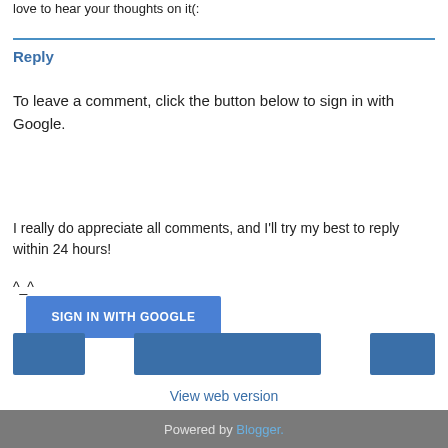love to hear your thoughts on it(:
Reply
To leave a comment, click the button below to sign in with Google.
[Figure (other): Blue 'SIGN IN WITH GOOGLE' button]
I really do appreciate all comments, and I'll try my best to reply within 24 hours!
^_^
[Figure (other): Three blue navigation buttons (previous, home/center, next)]
View web version
Powered by Blogger.